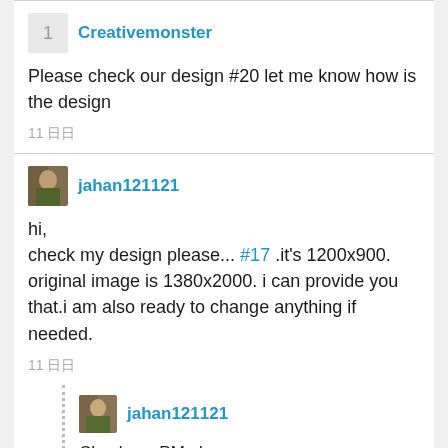Creativemonster
Please check our design #20 let me know how is the design
11 日日
jahan121121
hi,
check my design please... #17 .it's 1200x900. original image is 1380x2000. i can provide you that.i am also ready to change anything if needed.
11 日日
jahan121121
Check my PM please